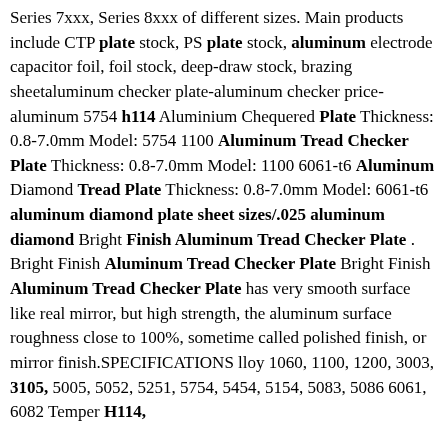Series 7xxx, Series 8xxx of different sizes. Main products include CTP plate stock, PS plate stock, aluminum electrode capacitor foil, foil stock, deep-draw stock, brazing sheetaluminum checker plate-aluminum checker price-aluminum 5754 h114 Aluminium Chequered Plate Thickness: 0.8-7.0mm Model: 5754 1100 Aluminum Tread Checker Plate Thickness: 0.8-7.0mm Model: 1100 6061-t6 Aluminum Diamond Tread Plate Thickness: 0.8-7.0mm Model: 6061-t6 aluminum diamond plate sheet sizes/.025 aluminum diamond Bright Finish Aluminum Tread Checker Plate . Bright Finish Aluminum Tread Checker Plate Bright Finish Aluminum Tread Checker Plate has very smooth surface like real mirror, but high strength, the aluminum surface roughness close to 100%, sometime called polished finish, or mirror finish.SPECIFICATIONS lloy 1060, 1100, 1200, 3003, 3105, 5005, 5052, 5251, 5754, 5454, 5154, 5083, 5086 6061, 6082 Temper H114,